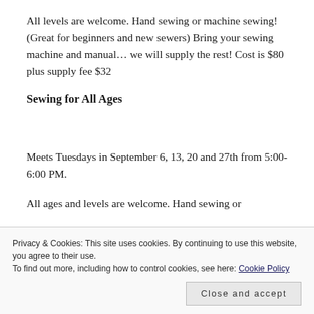All levels are welcome. Hand sewing or machine sewing! (Great for beginners and new sewers) Bring your sewing machine and manual… we will supply the rest! Cost is $80 plus supply fee $32
Sewing for All Ages
Meets Tuesdays in September 6, 13, 20 and 27th from 5:00-6:00 PM.
All ages and levels are welcome. Hand sewing or
Privacy & Cookies: This site uses cookies. By continuing to use this website, you agree to their use.
To find out more, including how to control cookies, see here: Cookie Policy
Close and accept